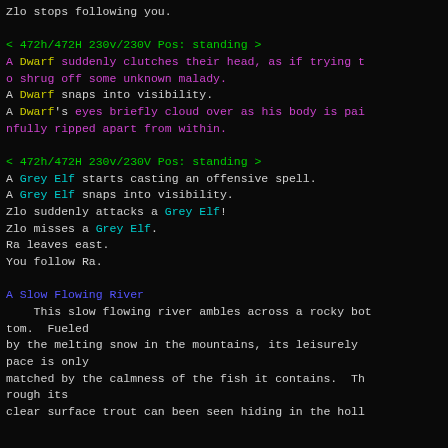Zlo stops following you.
< 472h/472H 230v/230V Pos: standing >
A Dwarf suddenly clutches their head, as if trying to shrug off some unknown malady.
A Dwarf snaps into visibility.
A Dwarf's eyes briefly cloud over as his body is painfully ripped apart from within.
< 472h/472H 230v/230V Pos: standing >
A Grey Elf starts casting an offensive spell.
A Grey Elf snaps into visibility.
Zlo suddenly attacks a Grey Elf!
Zlo misses a Grey Elf.
Ra leaves east.
You follow Ra.
A Slow Flowing River
This slow flowing river ambles across a rocky bottom.  Fueled
by the melting snow in the mountains, its leisurely pace is only
matched by the calmness of the fish it contains.  Through its
clear surface trout can been seen hiding in the holl